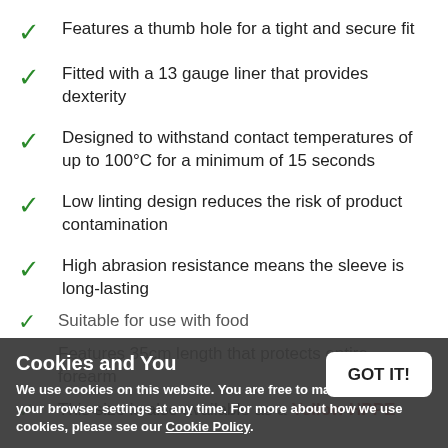Features a thumb hole for a tight and secure fit
Fitted with a 13 gauge liner that provides dexterity
Designed to withstand contact temperatures of up to 100°C for a minimum of 15 seconds
Low linting design reduces the risk of product contamination
High abrasion resistance means the sleeve is long-lasting
Suitable for use with food
Features 35cm length that protects entire forearm
This size is also available as a Yellow HPPE
Cookies and You
We use cookies on this website. You are free to manage these via your browser settings at any time. For more about how we use cookies, please see our Cookie Policy.
GOT IT!